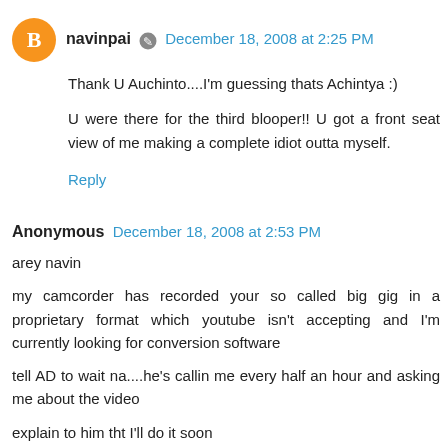navinpai  December 18, 2008 at 2:25 PM
Thank U Auchinto....I'm guessing thats Achintya :)
U were there for the third blooper!! U got a front seat view of me making a complete idiot outta myself.
Reply
Anonymous  December 18, 2008 at 2:53 PM
arey navin
my camcorder has recorded your so called big gig in a proprietary format which youtube isn't accepting and I'm currently looking for conversion software
tell AD to wait na....he's callin me every half an hour and asking me about the video
explain to him tht I'll do it soon
nice post by the way....remembered my first year, even I